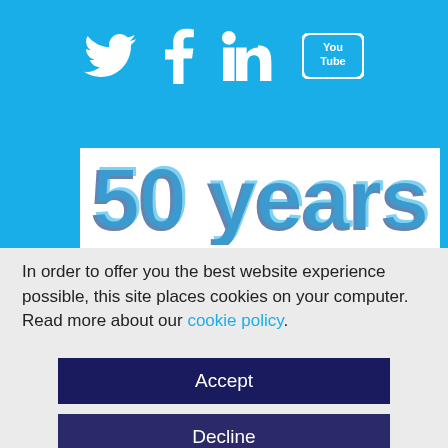[Figure (illustration): Blue header banner with four social media icons: Twitter (bird), Facebook (f), LinkedIn (in), YouTube (play button with 'You Tube' text), all in white on a sky-blue background.]
[Figure (illustration): White card partially visible showing large stylized text '50 years' in dark blue and light blue overlapping letters.]
In order to offer you the best website experience possible, this site places cookies on your computer. Read more about our cookie policy.
Accept
Decline